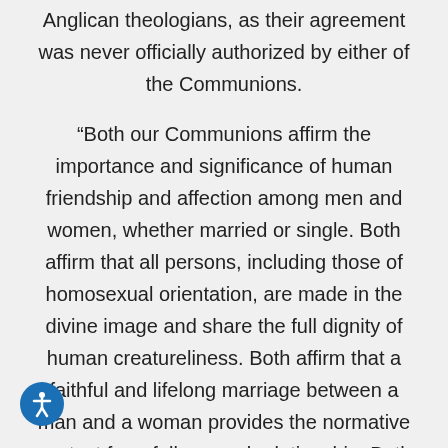Anglican theologians, as their agreement was never officially authorized by either of the Communions.
“Both our Communions affirm the importance and significance of human friendship and affection among men and women, whether married or single. Both affirm that all persons, including those of homosexual orientation, are made in the divine image and share the full dignity of human creatureliness. Both affirm that a faithful and lifelong marriage between a man and a woman provides the normative context for a fully sexual relationship. Both appeal to Scripture and the natural law as the sources of